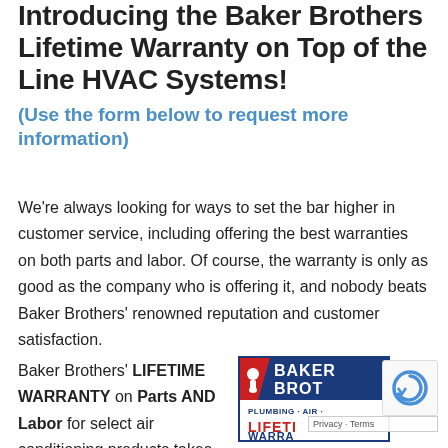Introducing the Baker Brothers Lifetime Warranty on Top of the Line HVAC Systems!
(Use the form below to request more information)
We're always looking for ways to set the bar higher in customer service, including offering the best warranties on both parts and labor. Of course, the warranty is only as good as the company who is offering it, and nobody beats Baker Brothers' renowned reputation and customer satisfaction.
Baker Brothers' LIFETIME WARRANTY on Parts AND Labor for select air conditioning products takes
[Figure (logo): Baker Brothers Plumbing Air Lifetime Warranty logo in blue and red with border]